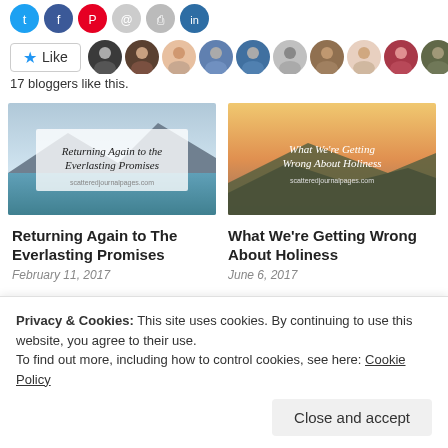[Figure (other): Social share icons (Twitter/blue, Facebook/blue, Pinterest/red, email/grey, print/grey, unknown/dark blue) at top]
Like
[Figure (photo): Row of 10 avatar photos of bloggers who liked the post]
17 bloggers like this.
[Figure (photo): Blog post thumbnail: 'Returning Again to The Everlasting Promises' with lake and mountain background, script font title overlay]
[Figure (photo): Blog post thumbnail: 'What We're Getting Wrong About Holiness' with sunset hillside background, script font title overlay]
Returning Again to The Everlasting Promises
February 11, 2017
What We're Getting Wrong About Holiness
June 6, 2017
Privacy & Cookies: This site uses cookies. By continuing to use this website, you agree to their use.
To find out more, including how to control cookies, see here: Cookie Policy
Close and accept